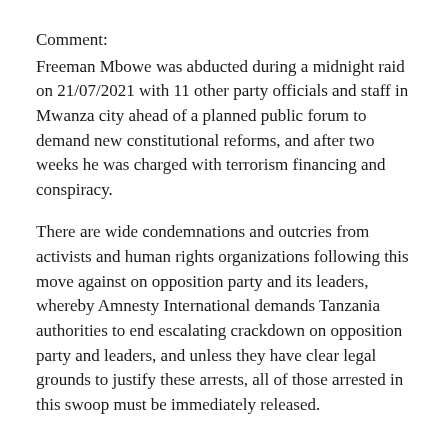Comment:
Freeman Mbowe was abducted during a midnight raid on 21/07/2021 with 11 other party officials and staff in Mwanza city ahead of a planned public forum to demand new constitutional reforms, and after two weeks he was charged with terrorism financing and conspiracy.
There are wide condemnations and outcries from activists and human rights organizations following this move against on opposition party and its leaders, whereby Amnesty International demands Tanzania authorities to end escalating crackdown on opposition party and leaders, and unless they have clear legal grounds to justify these arrests, all of those arrested in this swoop must be immediately released.